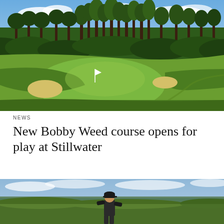[Figure (photo): Aerial view of a golf course green with a flag, surrounded by tall pine trees under a partly cloudy sky. Lush fairway with sand bunkers visible.]
NEWS
New Bobby Weed course opens for play at Stillwater
[Figure (photo): A man in a dark cap and jacket standing outdoors with a sweeping landscape view behind him, showing green fields and a body of water under cloudy skies.]